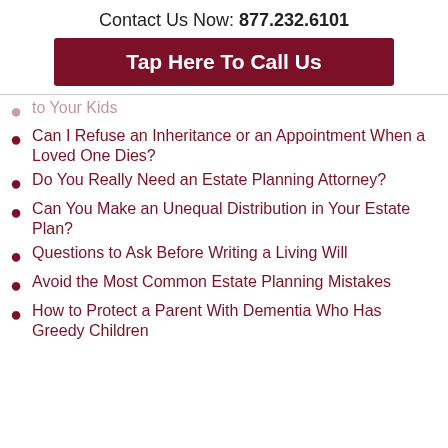Contact Us Now: 877.232.6101
Tap Here To Call Us
When You Do Not Want to Leave an Inheritance to Your Kids
Can I Refuse an Inheritance or an Appointment When a Loved One Dies?
Do You Really Need an Estate Planning Attorney?
Can You Make an Unequal Distribution in Your Estate Plan?
Questions to Ask Before Writing a Living Will
Avoid the Most Common Estate Planning Mistakes
How to Protect a Parent With Dementia Who Has Greedy Children